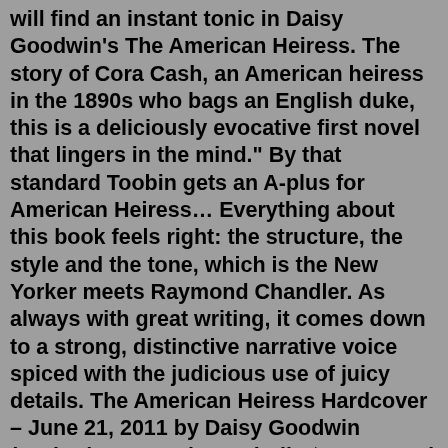will find an instant tonic in Daisy Goodwin's The American Heiress. The story of Cora Cash, an American heiress in the 1890s who bags an English duke, this is a deliciously evocative first novel that lingers in the mind." By that standard Toobin gets an A-plus for American Heiress… Everything about this book feels right: the structure, the style and the tone, which is the New Yorker meets Raymond Chandler. As always with great writing, it comes down to a strong, distinctive narrative voice spiced with the judicious use of juicy details. The American Heiress Hardcover – June 21, 2011 by Daisy Goodwin (Author) 1,395 ratings Kindle $11.99 Read with Our Free App Audiobook $0.00 Free with your Audible trial Hardcover $14.99 13 Used from $11.01 5 Collectible from $13.71 Paperback $10.28 203 Used from $1.28 45 New from $4.50 Mass Market Paperback To Marry the Duke – Book 1. Wealthy American heiress Sophia Wilson wants to marry for love, but love is the last thing on James Langdon's mind. The darkly handsome Duke of Wentworth